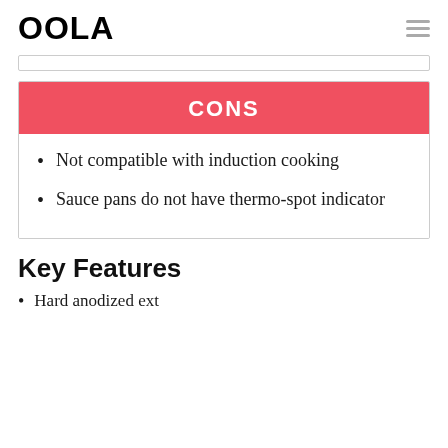OOLA
CONS
Not compatible with induction cooking
Sauce pans do not have thermo-spot indicator
Key Features
Hard anodized exterior